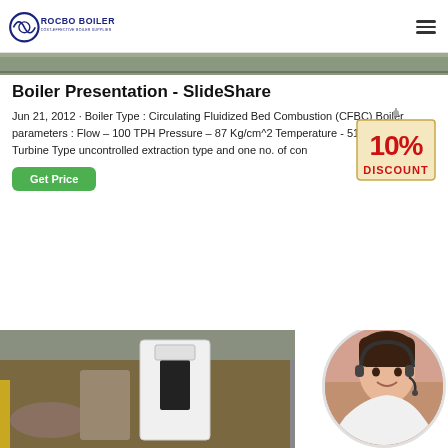[Figure (logo): ROCBO BOILER logo with circular icon and tagline COST-EFFECTIVE BOILER SUPPLIER]
[Figure (photo): Top banner image strip showing industrial boiler equipment]
Boiler Presentation - SlideShare
Jun 21, 2012 · Boiler Type : Circulating Fluidized Bed Combustion (CFBC) Boiler parameters : Flow – 100 TPH Pressure – 87 Kg/cm^2 Temperature - 515 ± 5 oC Turbine Type uncontrolled extraction type and one no. of con
[Figure (illustration): 10% DISCOUNT badge hanging sign in red and beige]
[Figure (photo): Get Price green button]
[Figure (photo): Industrial boiler equipment photo at bottom left]
[Figure (photo): Customer service representative with headset, circular cropped photo at bottom right]